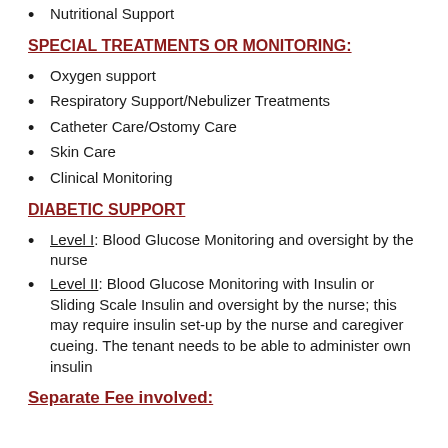Nutritional Support
SPECIAL TREATMENTS OR MONITORING:
Oxygen support
Respiratory Support/Nebulizer Treatments
Catheter Care/Ostomy Care
Skin Care
Clinical Monitoring
DIABETIC SUPPORT
Level I:  Blood Glucose Monitoring and oversight by the nurse
Level II:  Blood Glucose Monitoring with Insulin or Sliding Scale Insulin and oversight by the nurse; this may require insulin set-up by the nurse and caregiver cueing.  The tenant needs to be able to administer own insulin
Separate Fee involved: